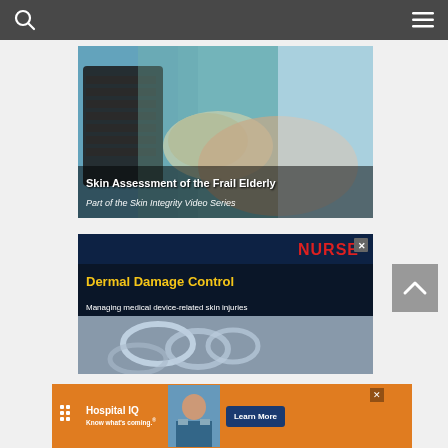Navigation bar with search and menu icons
[Figure (photo): Medical professional in blue surgical gown and gloves performing skin assessment on elderly patient. Overlay text reads: 'Skin Assessment of the Frail Elderly / Part of the Skin Integrity Video Series']
[Figure (photo): Advertisement for 'NURSE' publication - Dermal Damage Control: Managing medical device-related skin injuries, with medical equipment background]
[Figure (photo): Hospital IQ advertisement banner - 'Know what's coming.' with Learn More button and nurse/doctor image]